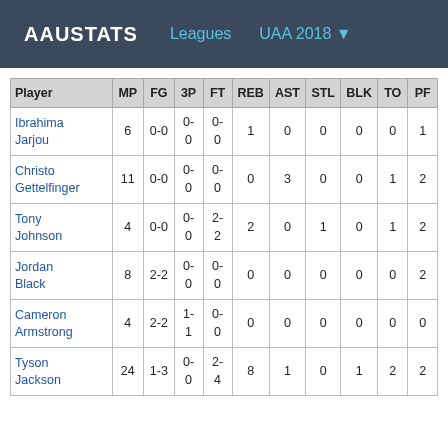AAUSTATS  Leagues  UAA 2018
| Player | MP | FG | 3P | FT | REB | AST | STL | BLK | TO | PF |
| --- | --- | --- | --- | --- | --- | --- | --- | --- | --- | --- |
| Ibrahima Jarjou | 6 | 0-0 | 0-0 | 0-0 | 1 | 0 | 0 | 0 | 0 | 1 |
| Christo Gettelfinger | 11 | 0-0 | 0-0 | 0-0 | 0 | 3 | 0 | 0 | 1 | 2 |
| Tony Johnson | 4 | 0-0 | 0-0 | 2-2 | 2 | 0 | 1 | 0 | 1 | 2 |
| Jordan Black | 8 | 2-2 | 0-0 | 0-0 | 0 | 0 | 0 | 0 | 0 | 2 |
| Cameron Armstrong | 4 | 2-2 | 1-1 | 0-0 | 0 | 0 | 0 | 0 | 0 | 0 |
| Tyson Jackson | 24 | 1-3 | 0-0 | 2-4 | 8 | 1 | 0 | 1 | 2 | 2 |